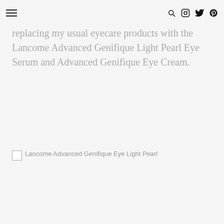[hamburger menu] [search] [instagram] [twitter] [pinterest]
replacing my usual eyecare products with the Lancome Advanced Genifique Light Pearl Eye Serum and Advanced Genifique Eye Cream.
[Figure (photo): Broken image placeholder with alt text: Lancome Advanced Genifique Eye Light Pearl]